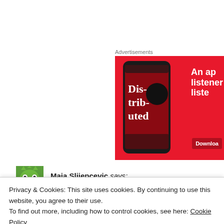Advertisements
[Figure (screenshot): Red advertisement banner showing a smartphone with a podcast app open, text 'Dis-trib-uted' on screen, and text 'An app listeners liste' with a Download button on the right side.]
Maja Slijepcevic says:
April 8, 2016 at 8:34 pm
Privacy & Cookies: This site uses cookies. By continuing to use this website, you agree to their use.
To find out more, including how to control cookies, see here: Cookie Policy
Close and accept